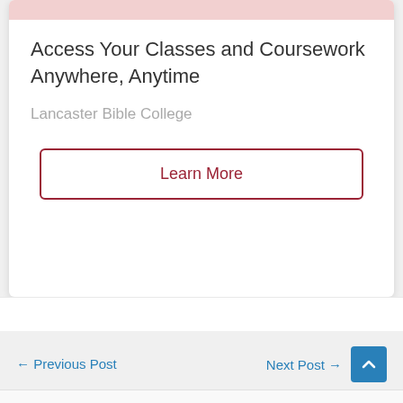[Figure (illustration): Pink/rose colored banner image strip at the top of a card — partial view of a decorative image]
Access Your Classes and Coursework Anywhere, Anytime
Lancaster Bible College
Learn More
← Previous Post   Next Post →